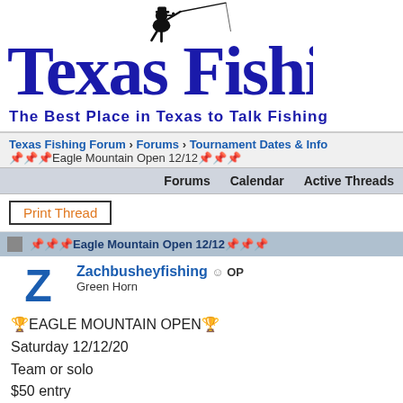[Figure (logo): Texas Fishing logo with fisherman silhouette and text 'Texas Fishing' in bold blue serif font]
The Best Place in Texas to Talk Fishing
Texas Fishing Forum > Forums > Tournament Dates & Info > Eagle Mountain Open 12/12
Forums   Calendar   Active Threads
Print Thread
Eagle Mountain Open 12/12
Zachbusheyfishing OP
Green Horn
🏆EAGLE MOUNTAIN OPEN🏆
Saturday 12/12/20
Team or solo
$50 entry
$10 big bass